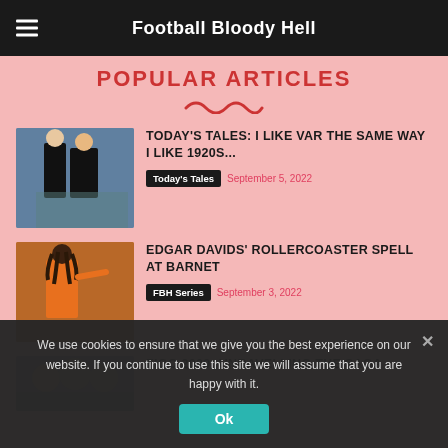Football Bloody Hell
POPULAR ARTICLES
TODAY'S TALES: I LIKE VAR THE SAME WAY I LIKE 1920S...
Today's Tales  September 5, 2022
EDGAR DAVIDS' ROLLERCOASTER SPELL AT BARNET
FBH Series  September 3, 2022
FIGO 2000: UNRAVELLING THE SAGA
We use cookies to ensure that we give you the best experience on our website. If you continue to use this site we will assume that you are happy with it.